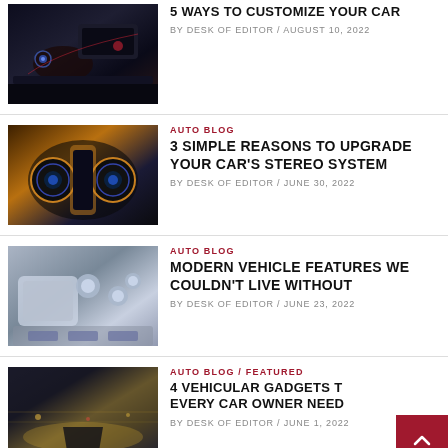[Figure (photo): Car interior with red/blue ambient lighting and dashboard]
5 WAYS TO CUSTOMIZE YOUR CAR
BY DESK OF EDITOR / AUGUST 10, 2022
[Figure (photo): Car stereo system with speakers and blue lights]
AUTO BLOG
3 SIMPLE REASONS TO UPGRADE YOUR CAR'S STEREO SYSTEM
BY DESK OF EDITOR / JUNE 30, 2022
[Figure (photo): Modern vehicle interior with highlighted features]
AUTO BLOG
MODERN VEHICLE FEATURES WE COULDN'T LIVE WITHOUT
BY DESK OF EDITOR / JUNE 23, 2022
[Figure (photo): Rainy highway view from inside car]
AUTO BLOG / FEATURED
4 VEHICULAR GADGETS THAT EVERY CAR OWNER NEEDS
BY DESK OF EDITOR / JUNE 1, 2022